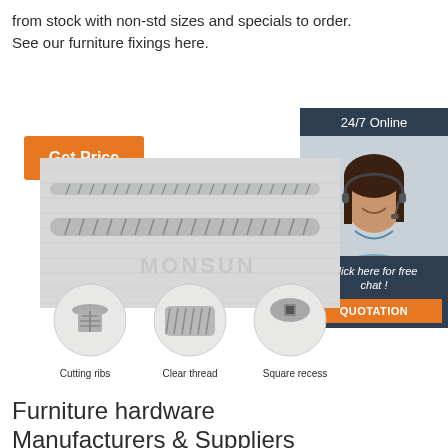from stock with non-std sizes and specials to order. See our furniture fixings here.
[Figure (other): Orange 'Get Price' button]
[Figure (other): 24/7 Online chat box with customer service representative photo, 'Click here for free chat!' text, and orange QUOTATION button]
[Figure (photo): Photo of two silver furniture screws laid horizontally, with three circular close-up inset images below showing: Cutting ribs, Clear thread, Square recess features]
Cutting ribs
Clear thread
Square recess
Furniture hardware Manufacturers & Suppliers